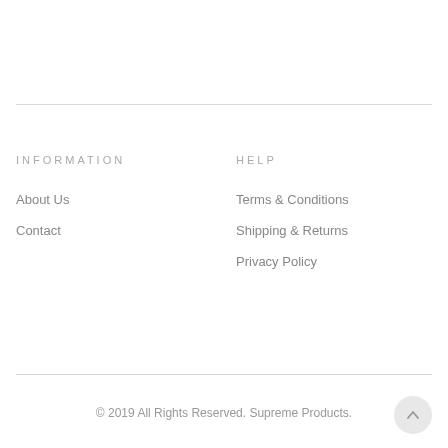INFORMATION
About Us
Contact
HELP
Terms & Conditions
Shipping & Returns
Privacy Policy
© 2019 All Rights Reserved. Supreme Products.